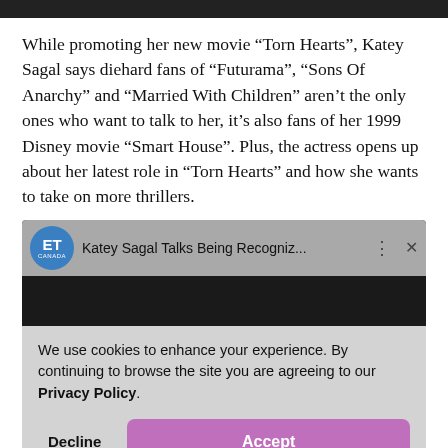[Figure (screenshot): Black top navigation bar strip]
While promoting her new movie “Torn Hearts”, Katey Sagal says diehard fans of “Futurama”, “Sons Of Anarchy” and “Married With Children” aren’t the only ones who want to talk to her, it’s also fans of her 1999 Disney movie “Smart House”. Plus, the actress opens up about her latest role in “Torn Hearts” and how she wants to take on more thrillers.
[Figure (screenshot): ET Canada video player with cookie consent banner overlay. Video title: 'Katey Sagal Talks Being Recogniz...'. Cookie banner text: 'We use cookies to enhance your experience. By continuing to browse the site you are agreeing to our Privacy Policy.' Buttons: Decline and Accept.]